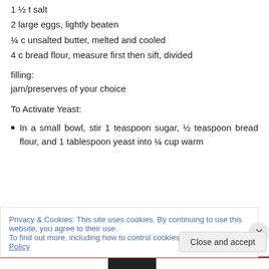1 ½ t salt
2 large eggs, lightly beaten
¼ c unsalted butter, melted and cooled
4 c bread flour, measure first then sift, divided
filling:
jam/preserves of your choice
To Activate Yeast:
In a small bowl, stir 1 teaspoon sugar, ½ teaspoon bread flour, and 1 tablespoon yeast into ¼ cup warm
Privacy & Cookies: This site uses cookies. By continuing to use this website, you agree to their use.
To find out more, including how to control cookies, see here: Cookie Policy